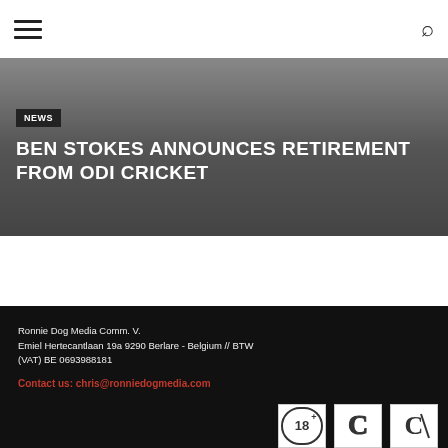BEN STOKES ANNOUNCES RETIREMENT FROM ODI CRICKET
Ronnie Dog Media Comm. V.
Emiel Hertecantlaan 19a 9290 Berlare - Belgium // BTW (VAT) BE 0693988181
Contact us: chris@ronniedogmedia.com
[Figure (logo): Three logos/certification icons at the bottom right of the footer]